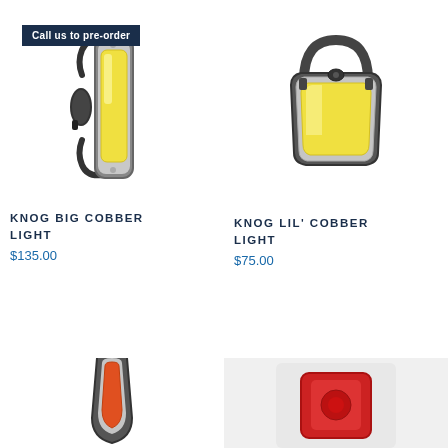[Figure (photo): Knog Big Cobber bicycle light - vertical rectangular form with yellow COB LED panel and black mounting bracket, with 'Call us to pre-order' badge]
Call us to pre-order
KNOG BIG COBBER LIGHT
$135.00
[Figure (photo): Knog Lil' Cobber bicycle light - rounded trapezoidal form with yellow COB LED panel, black mounting bracket handle on top]
KNOG LIL' COBBER LIGHT
$75.00
[Figure (photo): Partial view of another Knog light product at bottom left, showing orange/red LED]
[Figure (photo): Partial view of a red Knog light product at bottom right on grey background]